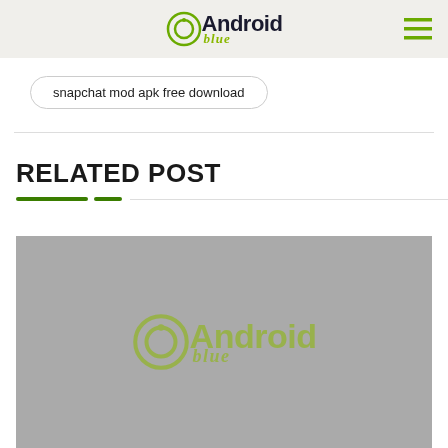Android Blue
snapchat mod apk free download
RELATED POST
[Figure (logo): Android Blue logo watermark on gray placeholder image background]